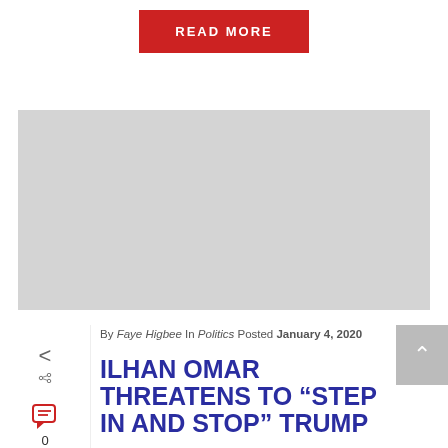[Figure (other): Red READ MORE button]
[Figure (other): Gray advertisement placeholder rectangle]
By Faye Higbee In Politics Posted January 4, 2020
ILHAN OMAR THREATENS TO “STEP IN AND STOP” TRUMP